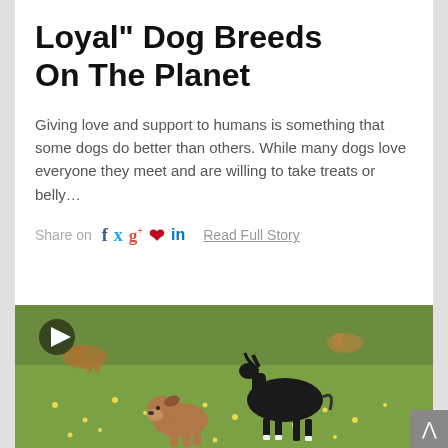Loyal" Dog Breeds On The Planet
Giving love and support to humans is something that some dogs do better than others. While many dogs love everyone they meet and are willing to take treats or belly…
Share on  f  t  g+  p  in   Read Full Story
[Figure (photo): A brown dog and a black foal standing in a green field with yellow flowers. A play button icon is visible in the upper left corner of the image.]